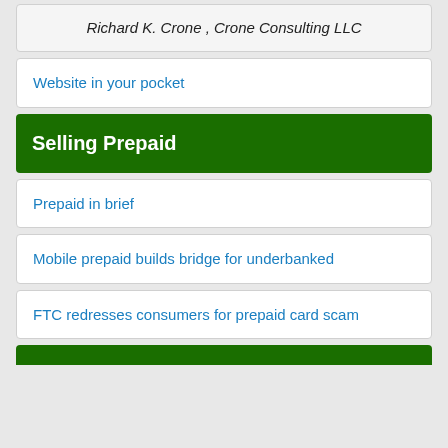Richard K. Crone , Crone Consulting LLC
Website in your pocket
Selling Prepaid
Prepaid in brief
Mobile prepaid builds bridge for underbanked
FTC redresses consumers for prepaid card scam